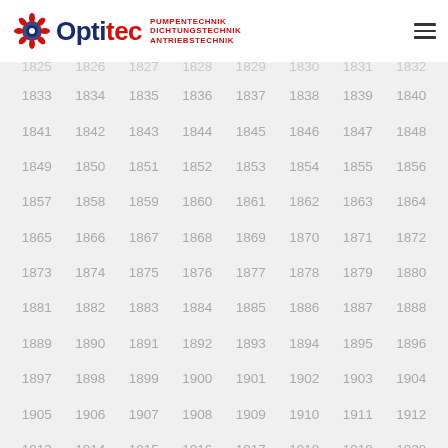[Figure (logo): Optitec logo with blue/red text and gear icon, taglines: PUMPENTECHNIK, DICHTUNGSTECHNIK, ANTRIEBSTECHNIK]
1825 1826 1827 1828 1829 1830 1831 1832 (partial, clipped at top)
1833 1834 1835 1836 1837 1838 1839 1840
1841 1842 1843 1844 1845 1846 1847 1848
1849 1850 1851 1852 1853 1854 1855 1856
1857 1858 1859 1860 1861 1862 1863 1864
1865 1866 1867 1868 1869 1870 1871 1872
1873 1874 1875 1876 1877 1878 1879 1880
1881 1882 1883 1884 1885 1886 1887 1888
1889 1890 1891 1892 1893 1894 1895 1896
1897 1898 1899 1900 1901 1902 1903 1904
1905 1906 1907 1908 1909 1910 1911 1912
1913 1914 1915 1916 1917 1918 1919 1920 (partial, clipped at bottom)